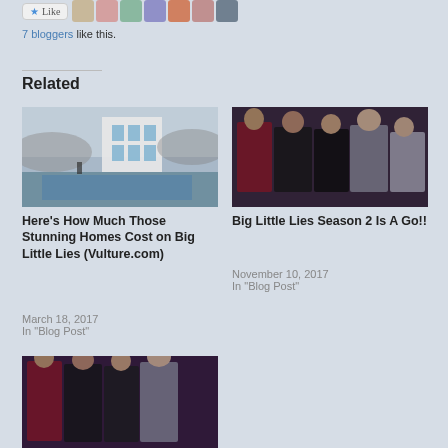[Figure (screenshot): Like button with blogger avatar thumbnails]
7 bloggers like this.
Related
[Figure (photo): Photo of a luxury home with pool and glass windows]
Here's How Much Those Stunning Homes Cost on Big Little Lies (Vulture.com)
March 18, 2017
In "Blog Post"
[Figure (photo): Photo of women in formal dresses at an event]
Big Little Lies Season 2 Is A Go!!
November 10, 2017
In "Blog Post"
[Figure (photo): Photo of women in formal dresses at an event (bottom card, partially visible)]